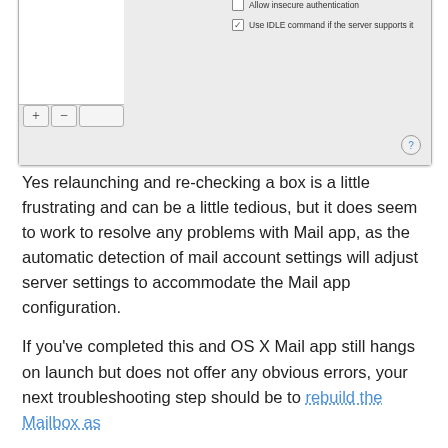[Figure (screenshot): macOS Mail preferences dialog showing checkboxes: 'Allow insecure authentication' (unchecked) and 'Use IDLE command if the server supports it' (checked), with a left panel showing accounts list area, plus/minus buttons at bottom, and a help button in lower right.]
Yes relaunching and re-checking a box is a little frustrating and can be a little tedious, but it does seem to work to resolve any problems with Mail app, as the automatic detection of mail account settings will adjust server settings to accommodate the Mail app configuration.
If you've completed this and OS X Mail app still hangs on launch but does not offer any obvious errors, your next troubleshooting step should be to rebuild the Mailbox as